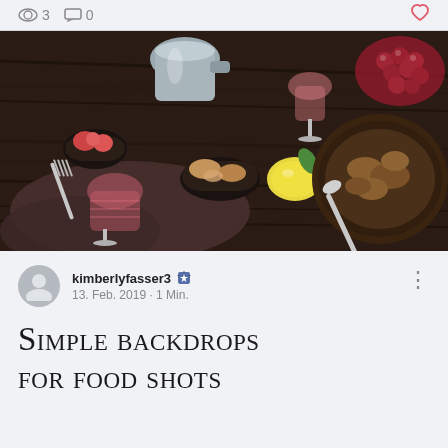3  0
[Figure (photo): Overhead food photography on a dark rustic wooden table with wine glasses, bread, lemon, grapes, bowl of food, silver pitcher, and fork arranged artistically]
kimberlyfasser3 · 13. Feb. 2019 · 1 Min.
Simple backdrops for food shots